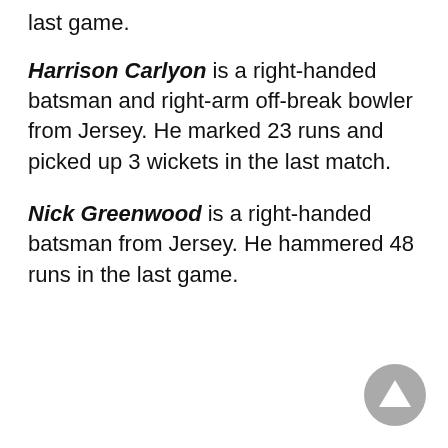last game.
Harrison Carlyon is a right-handed batsman and right-arm off-break bowler from Jersey. He marked 23 runs and picked up 3 wickets in the last match.
Nick Greenwood is a right-handed batsman from Jersey. He hammered 48 runs in the last game.